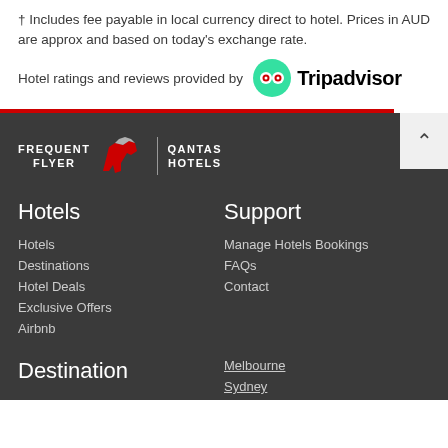† Includes fee payable in local currency direct to hotel. Prices in AUD are approx and based on today's exchange rate.
Hotel ratings and reviews provided by Tripadvisor
[Figure (logo): Qantas Frequent Flyer Hotels logo with kangaroo icon]
Hotels
Hotels
Destinations
Hotel Deals
Exclusive Offers
Airbnb
Support
Manage Hotels Bookings
FAQs
Contact
Destination
Melbourne
Sydney